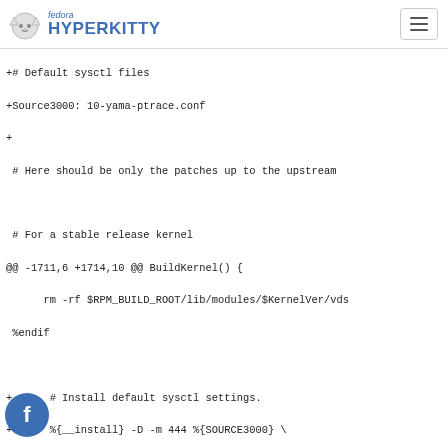fedora HYPERKITTY
+# Default sysctl files
+Source3000: 10-yama-ptrace.conf
+
 # Here should be only the patches up to the upstream

 # For a stable release kernel
@@ -1711,6 +1714,10 @@ BuildKernel() {
      rm -rf $RPM_BUILD_ROOT/lib/modules/$KernelVer/vds
 %endif

+      # Install default sysctl settings.
+      %{__install} -D -m 444 %{SOURCE3000} \
+          $RPM_BUILD_ROOT%{_sysctldir}/10-yama-ptrace-$K
+
      # And save the headers/makefiles etc for building
      #
      # This all looks scary, but the end result is sup
@@ -2342,6 +2349,7 @@ fi
 /lib/modules/%{KVERREL}%{?2:+%{2}}/vdso\
 /etc/ld.so.conf.d/kernel-%{KVERREL}%{?2:+%{2}}.conf\